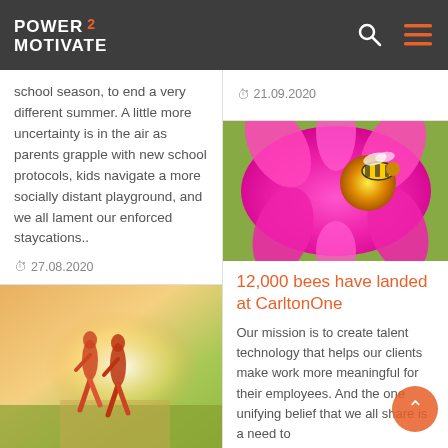POWER 2 MOTIVATE
school season, to end a very different summer. A little more uncertainty is in the air as parents grapple with new school protocols, kids navigate a more socially distant playground, and we all lament our enforced staycations..
27.08.2020
[Figure (photo): Two people running on a path in sunlight]
21.09.2020
[Figure (photo): Close-up of a bee on a bright pink/magenta flower]
12,000 bees have landed at CarltonOne
Our mission is to create talent technology that helps our clients make work more meaningful for their employees. And the one unifying belief that we all share is a need to